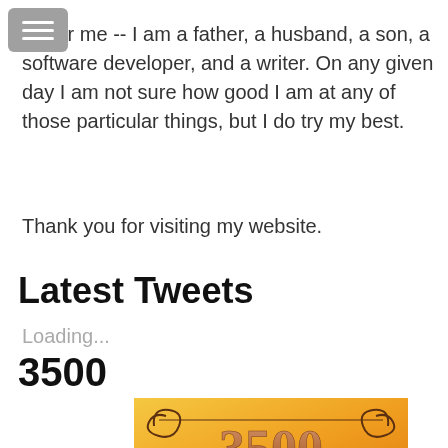[Figure (screenshot): Gray hamburger menu button icon in top left corner]
As for me -- I am a father, a husband, a son, a software developer, and a writer. On any given day I am not sure how good I am at any of those particular things, but I do try my best.
Thank you for visiting my website.
Latest Tweets
Loading...
3500
[Figure (illustration): Book cover image showing '3500 An Autistic Boy's Ten-Year Romance with...' on a golden/orange decorative background with ornate lettering]